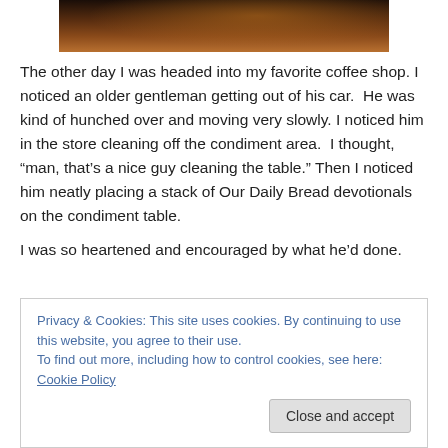[Figure (photo): Dark reddish-brown photograph, appears to be a landscape with warm orange glow, partially cropped at top of page]
The other day I was headed into my favorite coffee shop. I noticed an older gentleman getting out of his car.  He was kind of hunched over and moving very slowly. I noticed him in the store cleaning off the condiment area.  I thought, “man, that’s a nice guy cleaning the table.” Then I noticed him neatly placing a stack of Our Daily Bread devotionals on the condiment table.
I was so heartened and encouraged by what he’d done.
Privacy & Cookies: This site uses cookies. By continuing to use this website, you agree to their use.
To find out more, including how to control cookies, see here: Cookie Policy
I wonder how many people he influenced for God through